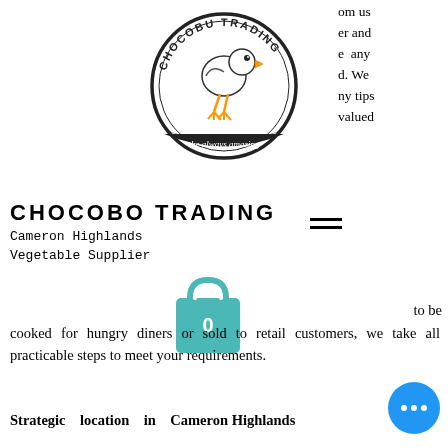[Figure (logo): Chocobu Trading logo — circular badge with a bird and text 'the always amazing']
om us
er and
e any
d. We
ny tips
valued
CHOCOBO TRADING
Cameron Highlands
Vegetable Supplier
[Figure (other): Shopping bag icon with number 0, teal/turquoise color]
to be
cooked for hungry diners or sold to retail customers, we take all practicable steps to meet your requirements.
Strategic location in Cameron Highlands
We directly supply our fresh produce from our farms in Cameron Highlands to the retailers. We harvest the and deliver on the same day to ensure